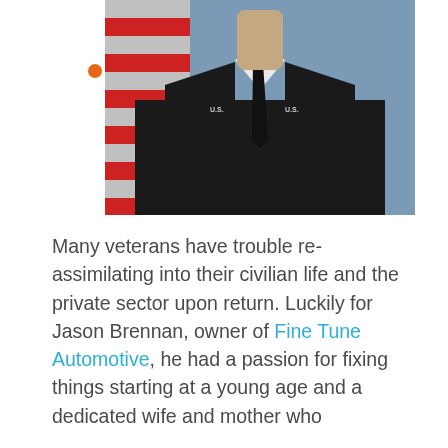[Figure (photo): Photo of a man in a dark military dress uniform with 'U.S.' collar insignia and a black tie, standing in front of an American flag against a blue-gray background. The image is cropped above the shoulders showing neck and chest.]
Many veterans have trouble re-assimilating into their civilian life and the private sector upon return. Luckily for Jason Brennan, owner of Fine Tune Automotive, he had a passion for fixing things starting at a young age and a dedicated wife and mother who